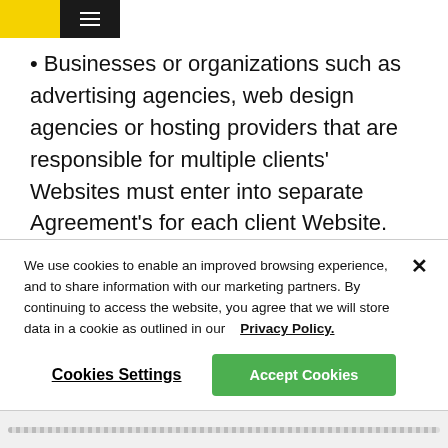• Businesses or organizations such as advertising agencies, web design agencies or hosting providers that are responsible for multiple clients' Websites must enter into separate Agreement's for each client Website.
You are responsible for ensuring that the Licensed Web Fonts can only be used on the Websites for which the Web Font Kit was downloaded and cannot be used or referenced by any website other than a Website. This
We use cookies to enable an improved browsing experience, and to share information with our marketing partners. By continuing to access the website, you agree that we will store data in a cookie as outlined in our   Privacy Policy.
Cookies Settings
Accept Cookies